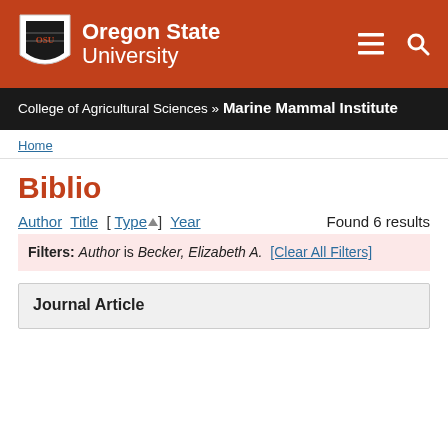[Figure (logo): Oregon State University header with OSU shield logo, university name in white on orange/red background, with hamburger menu and search icons]
College of Agricultural Sciences » Marine Mammal Institute
Home
Biblio
Author Title [ Type ▲ ] Year    Found 6 results
Filters: Author is Becker, Elizabeth A. [Clear All Filters]
Journal Article